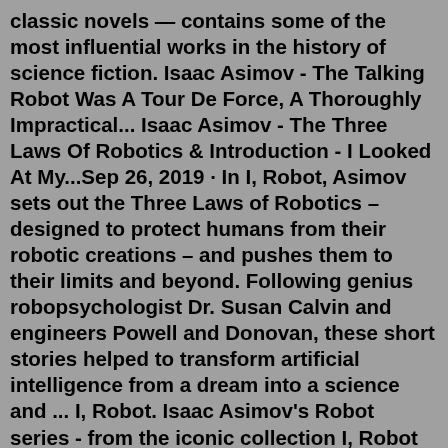classic novels — contains some of the most influential works in the history of science fiction. Isaac Asimov - The Talking Robot Was A Tour De Force, A Thoroughly Impractical... Isaac Asimov - The Three Laws Of Robotics & Introduction - I Looked At My...Sep 26, 2019 · In I, Robot, Asimov sets out the Three Laws of Robotics – designed to protect humans from their robotic creations – and pushes them to their limits and beyond. Following genius robopsychologist Dr. Susan Calvin and engineers Powell and Donovan, these short stories helped to transform artificial intelligence from a dream into a science and ... I, Robot. Isaac Asimov's Robot series - from the iconic collection I, Robot to four classic novels - contains some of the most influential works in the history of science fiction. Establishing and testing the Three Laws of Robotics, they continue to shape the understanding and design of artificial intelligence to this day. Isaac Asimov's Robot series – from the iconic collection I, Robot to four classic novels – contains some of the most influential works in the